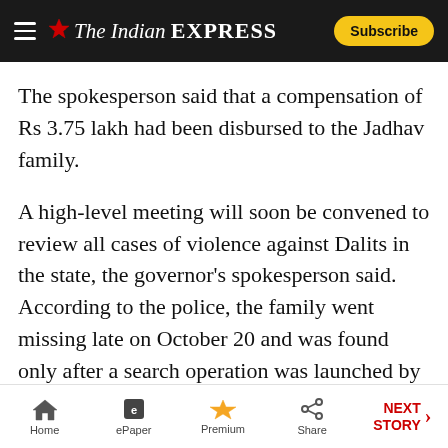The Indian EXPRESS — Subscribe
The spokesperson said that a compensation of Rs 3.75 lakh had been disbursed to the Jadhav family.
A high-level meeting will soon be convened to review all cases of violence against Dalits in the state, the governor's spokesperson said. According to the police, the family went missing late on October 20 and was found only after a search operation was launched by the relatives. A case has been registered at the Javkhede police station under the Scheduled Castes and Scheduled Tribes (Prevention of Atrocity) Act. No arrests have been made so far, the police said.
Home | ePaper | Premium | Share | NEXT STORY →